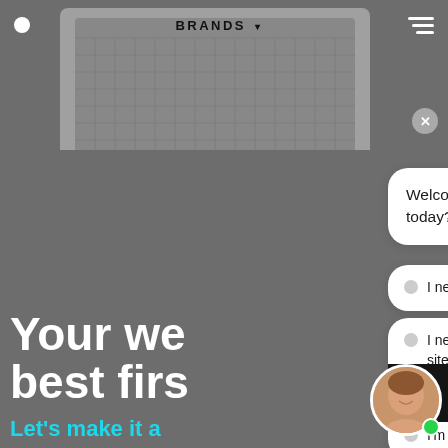[Figure (screenshot): Website chatbot interface overlay on a web design agency homepage. The background shows a dark gray website with a laptop image at the top. Navigation bar shows a white dot logo, 'BRANDS' with dropdown, and hamburger menu. In the foreground is a chat widget with a welcome message and four option buttons: 'I need design for a new website?', 'I need re-design for an existing site?', 'I need UX design?', 'I'm looking for pricing.' Below is a 'Get Started' dark button and a female avatar with a green online indicator. Partially visible headline text reads 'Your we... best firs...' and subtext 'Let's make it a...' in teal.]